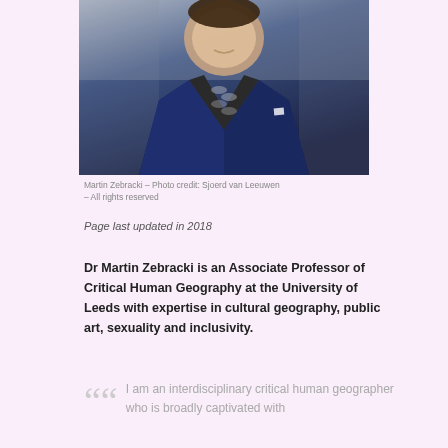[Figure (photo): Portrait photo of Martin Zebracki, a man in a navy blue blazer over a black and white patterned sweater, smiling, photographed outdoors with a blurred urban background.]
Martin Zebracki – Photo credit: Sjoerd van Leeuwen – All rights reserved
Page last updated in 2018
Dr Martin Zebracki is an Associate Professor of Critical Human Geography at the University of Leeds with expertise in cultural geography, public art, sexuality and inclusivity.
I am an interdisciplinary critical human geographer who is broadly captivated with